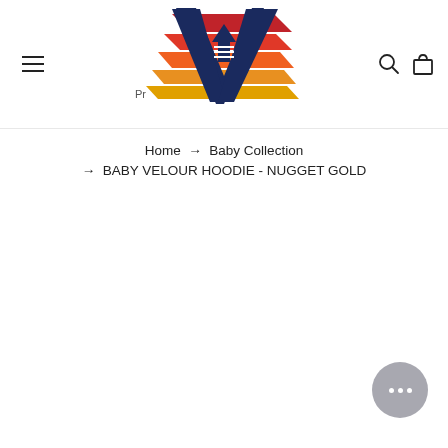AV logo with hamburger menu, search, and bag icons
[Figure (logo): AV brand logo with colorful stripes (red, orange, gold) and dark navy blue A and V letterforms with a triangle/arrow symbol inside]
Pr
Home → Baby Collection → BABY VELOUR HOODIE - NUGGET GOLD